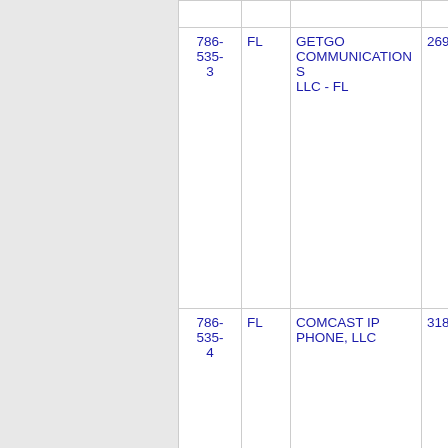| Number | State | Name | Code |
| --- | --- | --- | --- |
|  |  |  |  |
| 786-535-3 | FL | GETGO COMMUNICATIONS LLC - FL | 269H N |
| 786-535-4 | FL | COMCAST IP PHONE, LLC | 318J M |
| 786-... | FL | CELL CO... | 650...  |